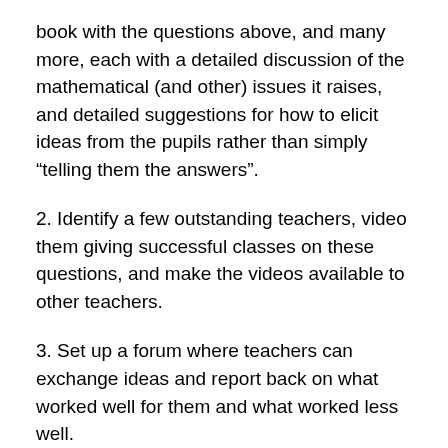book with the questions above, and many more, each with a detailed discussion of the mathematical (and other) issues it raises, and detailed suggestions for how to elicit ideas from the pupils rather than simply “telling them the answers”.
2. Identify a few outstanding teachers, video them giving successful classes on these questions, and make the videos available to other teachers.
3. Set up a forum where teachers can exchange ideas and report back on what worked well for them and what worked less well.
4. Thoroughly road test questions before letting them loose on the nation’s schoolchildren. In fact, that applies to the entire course: make sure one has something that